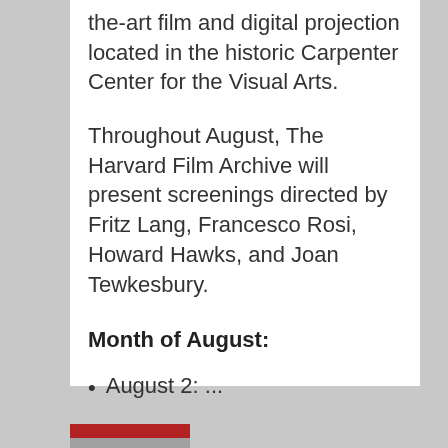the-art film and digital projection located in the historic Carpenter Center for the Visual Arts.
Throughout August, The Harvard Film Archive will present screenings directed by Fritz Lang, Francesco Rosi, Howard Hawks, and Joan Tewkesbury.
Month of August:
August 2: ...